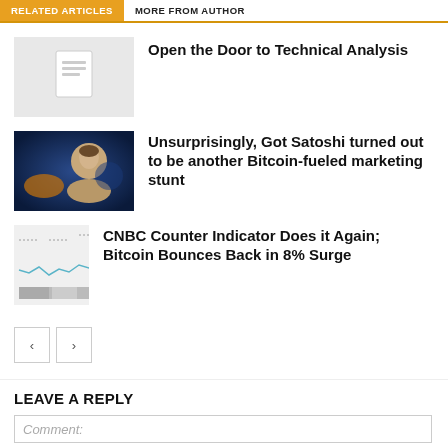RELATED ARTICLES | MORE FROM AUTHOR
Open the Door to Technical Analysis
[Figure (illustration): Document/article placeholder thumbnail with paper icon on grey background]
Unsurprisingly, Got Satoshi turned out to be another Bitcoin-fueled marketing stunt
[Figure (photo): Photo of a young man with dark hair against a blue bokeh background]
CNBC Counter Indicator Does it Again; Bitcoin Bounces Back in 8% Surge
[Figure (line-chart): Small thumbnail of a financial line chart with grey bars at bottom and a blue/teal line]
LEAVE A REPLY
Comment: